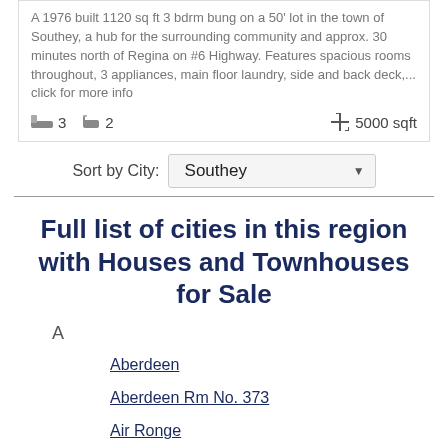A 1976 built 1120 sq ft 3 bdrm bung on a 50' lot in the town of Southey, a hub for the surrounding community and approx. 30 minutes north of Regina on #6 Highway. Features spacious rooms throughout, 3 appliances, main floor laundry, side and back deck,... click for more info
3 bedrooms | 2 bathrooms | 5000 sqft
Sort by City: Southey
Full list of cities in this region with Houses and Townhouses for Sale
A
Aberdeen
Aberdeen Rm No. 373
Air Ronge
Allan
Alvena
Aquadeo